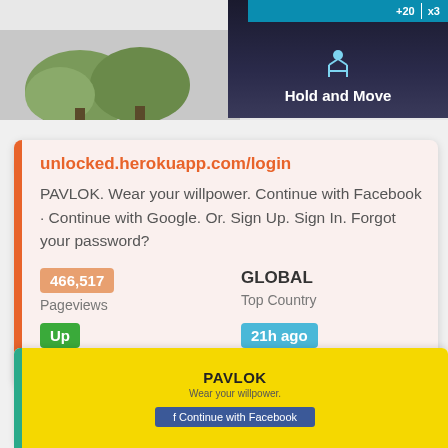[Figure (screenshot): Top banner screenshot showing a game interface with 'Hold and Move' label, dark background, person icon, score bar with +20 and x3 indicators, and tree silhouette on left side.]
unlocked.herokuapp.com/login
PAVLOK. Wear your willpower. Continue with Facebook · Continue with Google. Or. Sign Up. Sign In. Forgot your password?
466,517
Pageviews
GLOBAL
Top Country
Up
Site Status
21h ago
Last Pinged
[Figure (screenshot): Bottom partial card showing PAVLOK branding on yellow background with 'Wear your willpower' subtext and Facebook connect button.]